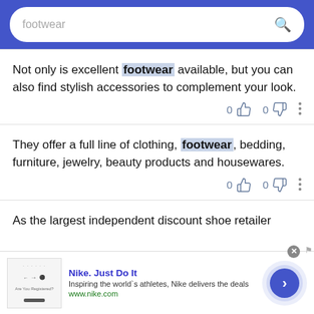[Figure (screenshot): Search bar with 'footwear' query on blue background]
Not only is excellent footwear available, but you can also find stylish accessories to complement your look.
They offer a full line of clothing, footwear, bedding, furniture, jewelry, beauty products and housewares.
As the largest independent discount shoe retailer
[Figure (screenshot): Nike. Just Do It advertisement banner with logo, tagline 'Inspiring the world's athletes, Nike delivers the deals', www.nike.com, and arrow button]